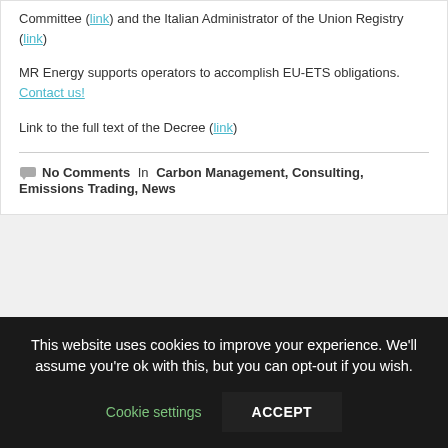Committee (link) and the Italian Administrator of the Union Registry (link)
MR Energy supports operators to accomplish EU-ETS obligations. Contact us!
Link to the full text of the Decree (link)
No Comments  In  Carbon Management, Consulting,  Emissions Trading,  News
This website uses cookies to improve your experience. We'll assume you're ok with this, but you can opt-out if you wish.
Cookie settings
ACCEPT